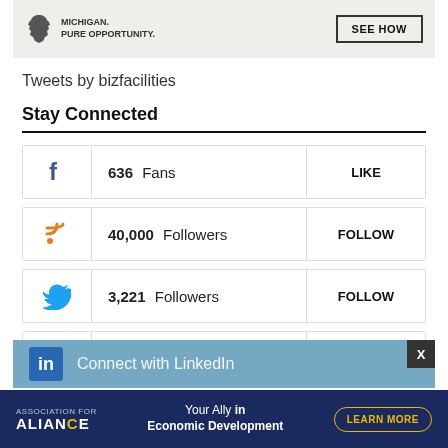[Figure (infographic): Michigan Pure Opportunity advertisement banner with state silhouette and SEE HOW button]
Tweets by bizfacilities
Stay Connected
636 Fans | LIKE (Facebook)
40,000 Followers | FOLLOW (RSS)
3,221 Followers | FOLLOW (Twitter)
50 Subscribers | SUBSCRIBE (YouTube)
[Figure (infographic): Connect with LinkedIn banner with close button X]
[Figure (infographic): Alliance Economic Development advertisement - Your Ally in Economic Development, LEARN MORE button]